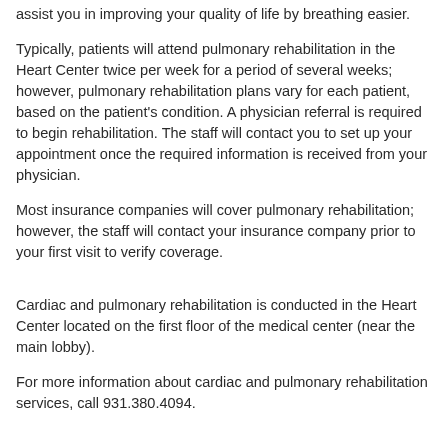assist you in improving your quality of life by breathing easier.
Typically, patients will attend pulmonary rehabilitation in the Heart Center twice per week for a period of several weeks; however, pulmonary rehabilitation plans vary for each patient, based on the patient's condition. A physician referral is required to begin rehabilitation. The staff will contact you to set up your appointment once the required information is received from your physician.
Most insurance companies will cover pulmonary rehabilitation; however, the staff will contact your insurance company prior to your first visit to verify coverage.
Cardiac and pulmonary rehabilitation is conducted in the Heart Center located on the first floor of the medical center (near the main lobby).
For more information about cardiac and pulmonary rehabilitation services, call 931.380.4094.